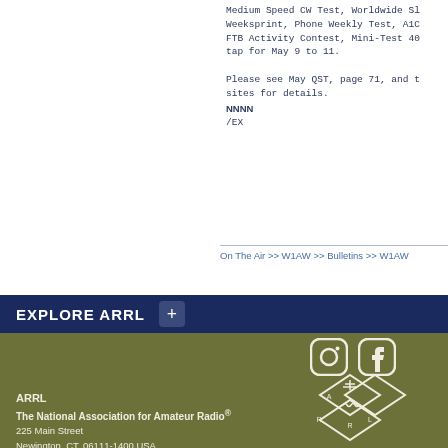Medium Speed CW Test, Worldwide Sl Weeksprint, Phone Weekly Test, A1C FTB Activity Contest, Mini-Test 40 tap for May 9 to 11.

Please see May QST, page 71, and t sites for details.
NNNN
/EX
On The Air >> W1AW >> Bulletins >> W1AW
EXPLORE ARRL
[Figure (logo): Instagram and Facebook social media icons in white on olive/dark background]
ARRL
The National Association for Amateur Radio®
225 Main Street
Newington, CT, 06111-1400 USA
Tel: 1-860-594-0200 | Fax: 1-860-594-0259
Toll-free: 1-888-277-5289
hq@arrl.org
[Figure (logo): ARRL diamond logo with antenna graphic in white on olive background]